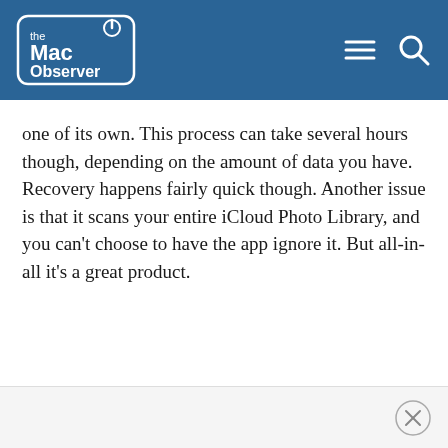the Mac Observer
one of its own. This process can take several hours though, depending on the amount of data you have. Recovery happens fairly quick though. Another issue is that it scans your entire iCloud Photo Library, and you can't choose to have the app ignore it. But all-in-all it's a great product.